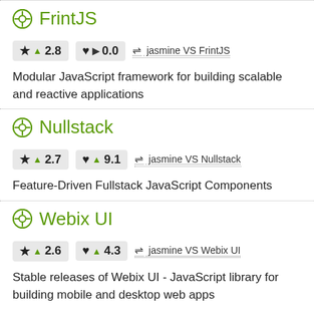FrintJS
★ ▲ 2.8   ♥ ▶ 0.0   ⇌ jasmine VS FrintJS
Modular JavaScript framework for building scalable and reactive applications
Nullstack
★ ▲ 2.7   ♥ ▲ 9.1   ⇌ jasmine VS Nullstack
Feature-Driven Fullstack JavaScript Components
Webix UI
★ ▲ 2.6   ♥ ▲ 4.3   ⇌ jasmine VS Webix UI
Stable releases of Webix UI - JavaScript library for building mobile and desktop web apps